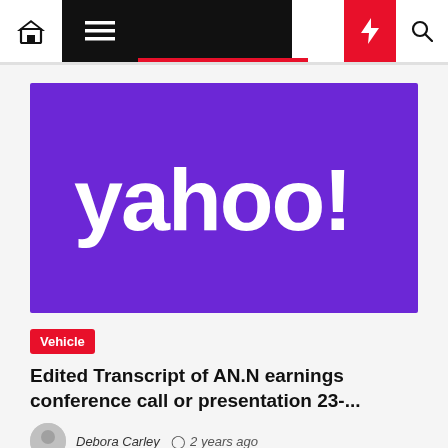Navigation bar with home, menu, dark mode, lightning, and search icons
[Figure (logo): Yahoo! logo — white text on purple background]
Vehicle
Edited Transcript of AN.N earnings conference call or presentation 23-...
Debora Carley  2 years ago